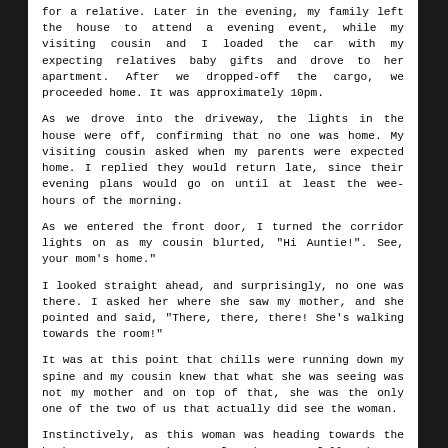for a relative. Later in the evening, my family left the house to attend a evening event, while my visiting cousin and I loaded the car with my expecting relatives baby gifts and drove to her apartment. After we dropped-off the cargo, we proceeded home. It was approximately 10pm.
As we drove into the driveway, the lights in the house were off, confirming that no one was home. My visiting cousin asked when my parents were expected home. I replied they would return late, since their evening plans would go on until at least the wee-hours of the morning.
As we entered the front door, I turned the corridor lights on as my cousin blurted, "Hi Auntie!". See, your mom's home."
I looked straight ahead, and surprisingly, no one was there. I asked her where she saw my mother, and she pointed and said, "There, there, there! She's walking towards the room!"
It was at this point that chills were running down my spine and my cousin knew that what she was seeing was not my mother and on top of that, she was the only one of the two of us that actually did see the woman.
Instinctively, as this woman was heading towards the back room, my cousin ran after her as I followed, not knowing or seeing who we were chasing. My cousin and I walked into the room as I switched on the light to find that no one, of course, was there. My cousin yelled, "I swear to God I saw her! I saw her!", then she broke down and started to cry uncontrollably. She was terrified.